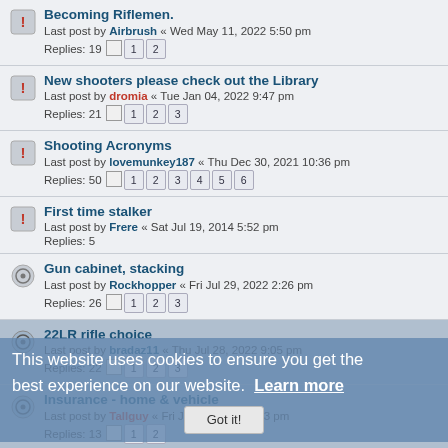Becoming Riflemen. Last post by Airbrush « Wed May 11, 2022 5:50 pm Replies: 19 [pages 1 2]
New shooters please check out the Library Last post by dromia « Tue Jan 04, 2022 9:47 pm Replies: 21 [pages 1 2 3]
Shooting Acronyms Last post by lovemunkey187 « Thu Dec 30, 2021 10:36 pm Replies: 50 [pages 1 2 3 4 5 6]
First time stalker Last post by Frere « Sat Jul 19, 2014 5:52 pm Replies: 5
Gun cabinet, stacking Last post by Rockhopper « Fri Jul 29, 2022 2:26 pm Replies: 26 [pages 1 2 3]
22LR rifle choice Last post by bradaz11 « Thu Jul 28, 2022 9:05 pm Replies: 22 [pages 1 2 3]
Insurance - home & vehicle Last post by Tallguy « Fri Jun 03, 2022 9:13 pm Replies: 13 [pages 1 2]
Recommendations for a first rifle Last post by 20series « Wed May 11, 2022 7:25 am Replies: 9
SGC
This website uses cookies to ensure you get the best experience on our website. Learn more